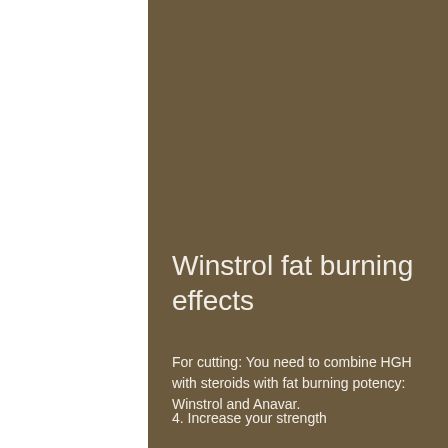Winstrol fat burning effects
For cutting: You need to combine HGH with steroids with fat burning potency: Winstrol and Anavar.
4. Increase your strength